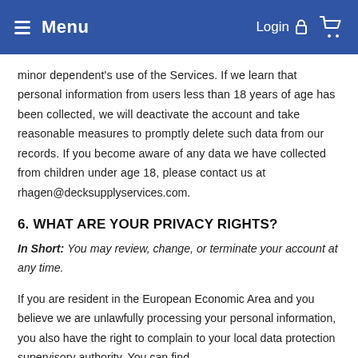Menu  Login  [cart icon]
minor dependent's use of the Services. If we learn that personal information from users less than 18 years of age has been collected, we will deactivate the account and take reasonable measures to promptly delete such data from our records. If you become aware of any data we have collected from children under age 18, please contact us at rhagen@decksupplyservices.com.
6. WHAT ARE YOUR PRIVACY RIGHTS?
In Short: You may review, change, or terminate your account at any time.
If you are resident in the European Economic Area and you believe we are unlawfully processing your personal information, you also have the right to complain to your local data protection supervisory authority. You can find